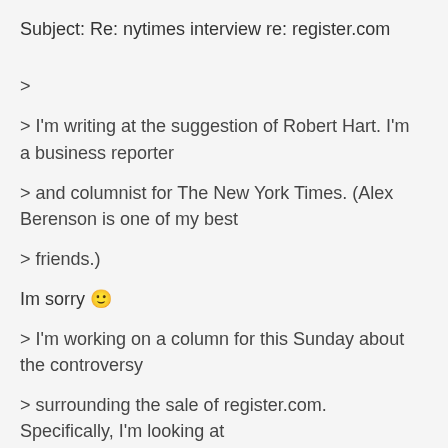Subject: Re: nytimes interview re: register.com
>
> I'm writing at the suggestion of Robert Hart. I'm a business reporter
> and columnist for The New York Times. (Alex Berenson is one of my best
> friends.)
Im sorry 🙂
> I'm working on a column for this Sunday about the controversy
> surrounding the sale of register.com.
Specifically, I'm looking at